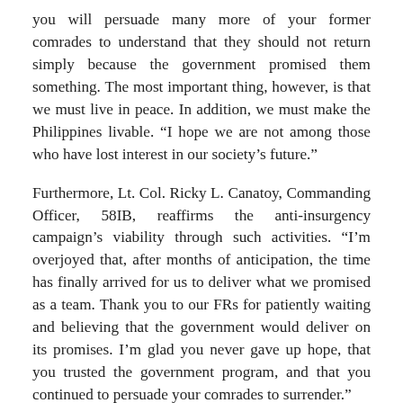you will persuade many more of your former comrades to understand that they should not return simply because the government promised them something. The most important thing, however, is that we must live in peace. In addition, we must make the Philippines livable. “I hope we are not among those who have lost interest in our society’s future.”
Furthermore, Lt. Col. Ricky L. Canatoy, Commanding Officer, 58IB, reaffirms the anti-insurgency campaign’s viability through such activities. “I’m overjoyed that, after months of anticipation, the time has finally arrived for us to deliver what we promised as a team. Thank you to our FRs for patiently waiting and believing that the government would deliver on its promises. I’m glad you never gave up hope, that you trusted the government program, and that you continued to persuade your comrades to surrender.”
“I’d like to thank Gov. Bambi Emano’s team, as well as